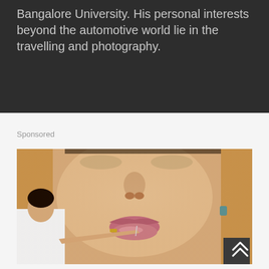Bangalore University. His personal interests beyond the automotive world lie in the travelling and photography.
Sponsored
[Figure (photo): Close-up photo of a woman's face with blonde hair and pink lips, with a person in white shirt appearing to touch her lip, suggesting a cosmetic/medical procedure advertisement.]